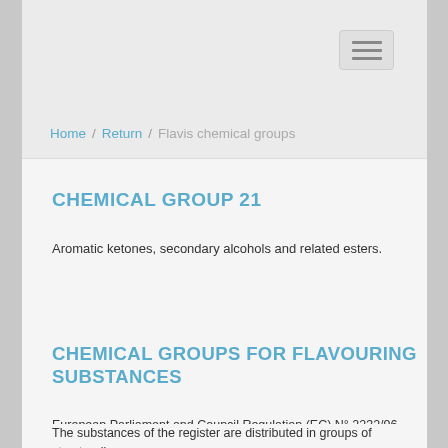Home / Return / Flavis chemical groups
CHEMICAL GROUP 21
Aromatic ketones, secondary alcohols and related esters.
CHEMICAL GROUPS FOR FLAVOURING SUBSTANCES
European Parliament and Council Regulation (EC) N° 2232/96 sets out the basic rules for the use of flavouring substances in or on foodstuffs in the EU. It furthermore lays down a procedure for the establishment of a EU-wide positive list of flavouring substances. After its establishment only those flavouring substances listed may be added to foods.
The substances of the register are distributed in groups of structurally